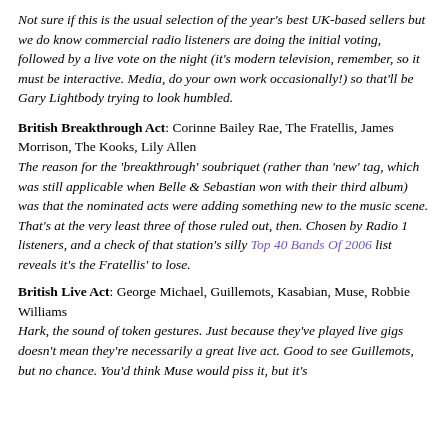Not sure if this is the usual selection of the year's best UK-based sellers but we do know commercial radio listeners are doing the initial voting, followed by a live vote on the night (it's modern television, remember, so it must be interactive. Media, do your own work occasionally!) so that'll be Gary Lightbody trying to look humbled.
British Breakthrough Act: Corinne Bailey Rae, The Fratellis, James Morrison, The Kooks, Lily Allen
The reason for the 'breakthrough' soubriquet (rather than 'new' tag, which was still applicable when Belle & Sebastian won with their third album) was that the nominated acts were adding something new to the music scene. That's at the very least three of those ruled out, then. Chosen by Radio 1 listeners, and a check of that station's silly Top 40 Bands Of 2006 list reveals it's the Fratellis' to lose.
British Live Act: George Michael, Guillemots, Kasabian, Muse, Robbie Williams
Hark, the sound of token gestures. Just because they've played live gigs doesn't mean they're necessarily a great live act. Good to see Guillemots, but no chance. You'd think Muse would piss it, but it's